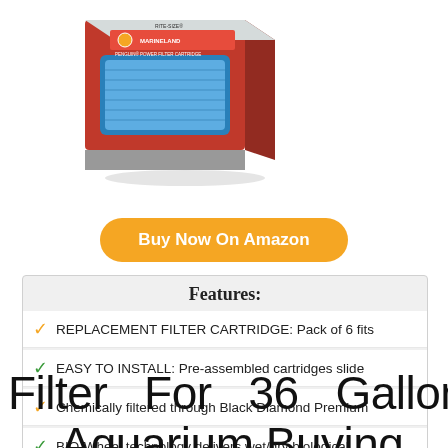[Figure (photo): Marineland Penguin Power Filter Cartridge product box photo showing blue filter cartridge and branded packaging]
Buy Now On Amazon
| Features: |
| --- |
| REPLACEMENT FILTER CARTRIDGE: Pack of 6 fits |
| EASY TO INSTALL: Pre-assembled cartridges slide |
| Chemically filtered through Black Diamond Premium |
| BIO-Wheel technology delivers wet/dry biological |
Filter For 36 Gallon Aquarium Buying Guide